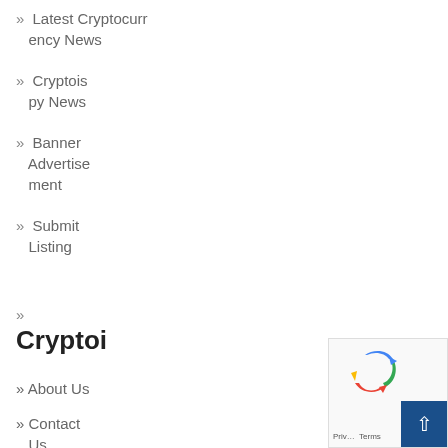» Latest Cryptocurrency News
» Cryptoispy News
» Banner Advertisement
» Submit Listing
Cryptoi
» About Us
» Contact Us
[Figure (other): reCAPTCHA widget with logo and privacy/terms text, and a blue scroll-to-top button with upward arrow]